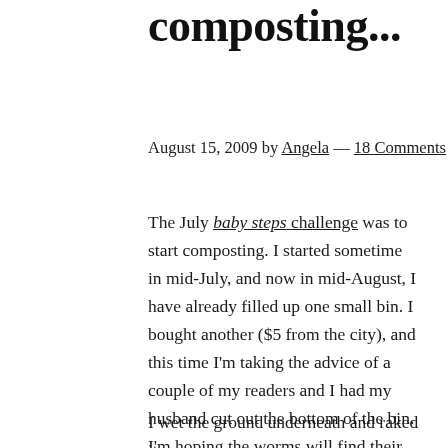composting...
August 15, 2009 by Angela — 18 Comments
The July baby steps challenge was to start composting. I started sometime in mid-July, and now in mid-August, I have already filled up one small bin. I bought another ($5 from the city), and this time I'm taking the advice of a couple of my readers and I had my husband cut out the bottom of the bin. I'm hoping the worms will find their way to my bin because I'm still squeamish about adding them myself.
I wet the ground underneath and raked it